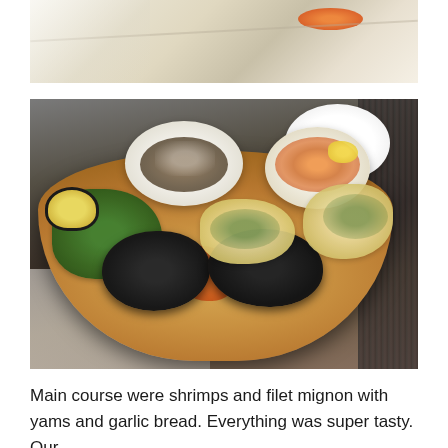[Figure (photo): Top portion of a food photo showing a white plate/surface with orange fish roe or caviar and some garnish visible at the edge]
[Figure (photo): A wooden serving board with multiple dishes: a bowl of creamy dish with herbs, a bowl with shrimps and lemon, green salad leaves, a small sauce cup, two filet mignon steaks, roasted yam pieces, and garlic bread slices]
Main course were shrimps and filet mignon with yams and garlic bread. Everything was super tasty. Our